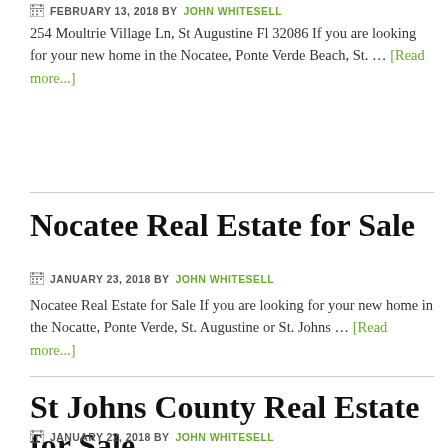FEBRUARY 13, 2018 BY JOHN WHITESELL
254 Moultrie Village Ln, St Augustine Fl 32086 If you are looking for your new home in the Nocatee, Ponte Verde Beach, St. … [Read more...]
Nocatee Real Estate for Sale
JANUARY 23, 2018 BY JOHN WHITESELL
Nocatee Real Estate for Sale If you are looking for your new home in the Nocatte, Ponte Verde, St. Augustine or St. Johns … [Read more...]
St Johns County Real Estate for Sale
JANUARY 22, 2018 BY JOHN WHITESELL